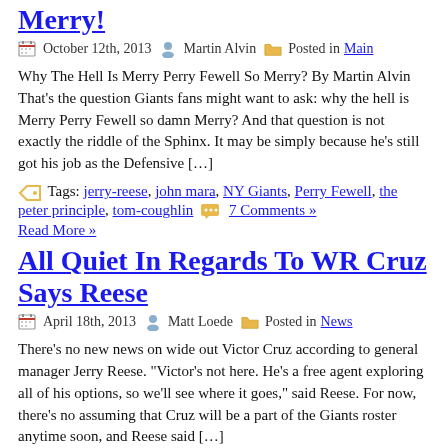Merry!
October 12th, 2013  Martin Alvin  Posted in Main
Why The Hell Is Merry Perry Fewell So Merry? By Martin Alvin That's the question Giants fans might want to ask: why the hell is Merry Perry Fewell so damn Merry? And that question is not exactly the riddle of the Sphinx. It may be simply because he's still got his job as the Defensive […]
Tags: jerry-reese, john mara, NY Giants, Perry Fewell, the peter principle, tom-coughlin  7 Comments » Read More »
All Quiet In Regards To WR Cruz Says Reese
April 18th, 2013  Matt Loede  Posted in News
There's no new news on wide out Victor Cruz according to general manager Jerry Reese. "Victor's not here. He's a free agent exploring all of his options, so we'll see where it goes," said Reese. For now, there's no assuming that Cruz will be a part of the Giants roster anytime soon, and Reese said […]